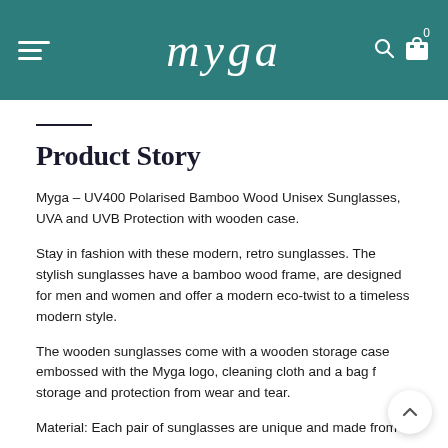myga
Product Story
Myga – UV400 Polarised Bamboo Wood Unisex Sunglasses, UVA and UVB Protection with wooden case.
Stay in fashion with these modern, retro sunglasses. The stylish sunglasses have a bamboo wood frame, are designed for men and women and offer a modern eco-twist to a timeless modern style.
The wooden sunglasses come with a wooden storage case embossed with the Myga logo, cleaning cloth and a bag f storage and protection from wear and tear.
Material: Each pair of sunglasses are unique and made from